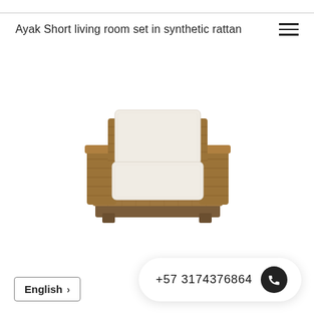Ayak Short living room set in synthetic rattan
[Figure (photo): A wicker/rattan armchair with white cushions (seat and back), brown synthetic rattan frame with flat armrests and a structured woven texture, photographed on white background.]
+57 3174376864
English >